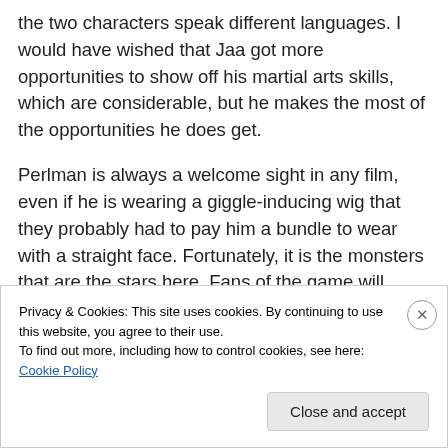the two characters speak different languages. I would have wished that Jaa got more opportunities to show off his martial arts skills, which are considerable, but he makes the most of the opportunities he does get.
Perlman is always a welcome sight in any film, even if he is wearing a giggle-inducing wig that they probably had to pay him a bundle to wear with a straight face. Fortunately, it is the monsters that are the stars here. Fans of the game will recognize them and we get a good idea of their scale here throughout. We get a few more in the third act of the
Privacy & Cookies: This site uses cookies. By continuing to use this website, you agree to their use.
To find out more, including how to control cookies, see here: Cookie Policy
Close and accept